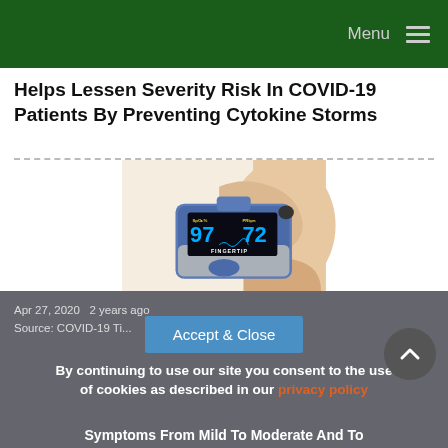Menu
Helps Lessen Severity Risk In COVID-19 Patients By Preventing Cytokine Storms
[Figure (photo): A fingertip pulse oximeter device held by a hand, showing SpO2: 97% and PR bpm: 72 on its digital display, labeled FINGERTIP.]
Apr 27, 2020  2 years ago
Source: COVID-19 Ti...
Accept & Close
By continuing to use our site you consent to the use of cookies as described in our privacy policy
Symptoms From Mild To Moderate And To